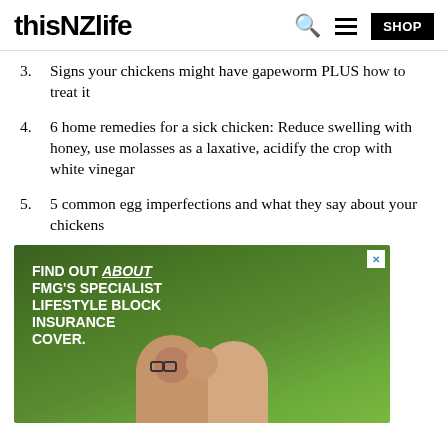thisNZlife
3. Signs your chickens might have gapeworm PLUS how to treat it
4. 6 home remedies for a sick chicken: Reduce swelling with honey, use molasses as a laxative, acidify the crop with white vinegar
5. 5 common egg imperfections and what they say about your chickens
[Figure (photo): FMG advertisement: FIND OUT about FMG'S SPECIALIST LIFESTYLE BLOCK INSURANCE COVER. Shows a couple (man with glasses and woman) outdoors with green trees in background.]